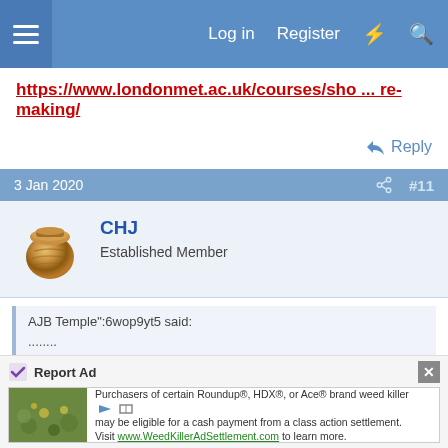Log in  Register
https://www.londonmet.ac.uk/courses/sho ... re-making/
Reply
3 Jan 2020  #11
CHJ
Established Member
AJB Temple":6wop9yt5 said:
........
I could practice more - but don't know what I don't know, and I want to avoid practicing my mistakes.
....
Report Ad
Purchasers of certain Roundup®, HDX®, or Ace® brand weed killer may be eligible for a cash payment from a class action settlement. Visit www.WeedKillerAdSettlement.com to learn more.